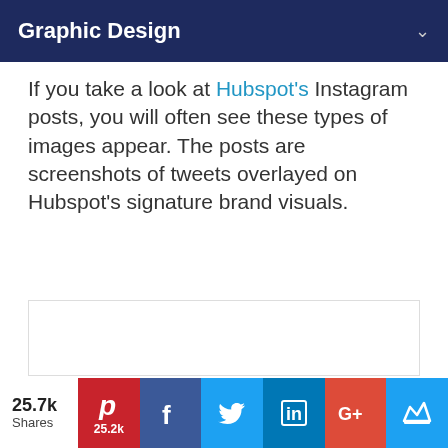Graphic Design
If you take a look at Hubspot's Instagram posts, you will often see these types of images appear. The posts are screenshots of tweets overlayed on Hubspot's signature brand visuals.
[Figure (other): White rectangular image placeholder with light border]
25.7k Shares